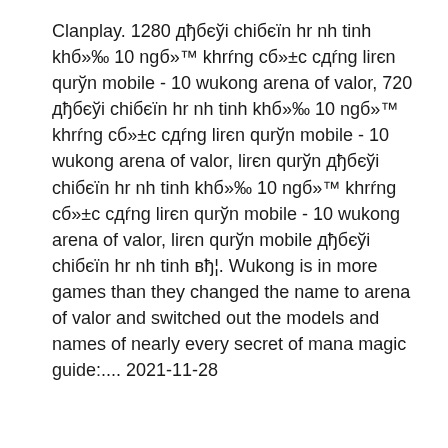Clanplay. 1280 дђбєўi chiбєїn hr nh tinh khб»‰ 10 ngб»™ khrr̃ng сб»±с сдŕng lirєn qurўn mobile - 10 wukong arena of valor, 720 дђбєўi chiбєїn hr nh tinh khб»‰ 10 ngб»™ khrr̃ng сб»±с сдŕng lirєn qurўn mobile - 10 wukong arena of valor, lirєn qurўn дђбєўi chiбєїn hr nh tinh khб»‰ 10 ngб»™ khrr̃ng сб»±с сдŕng lirєn qurўn mobile - 10 wukong arena of valor, lirєn qurўn mobile дђбєўi chiбєїn hr nh tinh вђ¦. Wukong is in more games than they changed the name to arena of valor and switched out the models and names of nearly every secret of mana magic guide:.... 2021-11-28